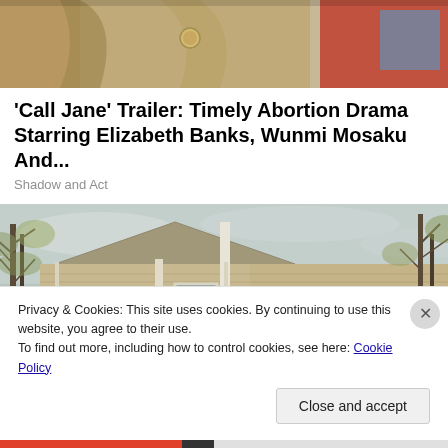[Figure (photo): Partial photo of a person wearing a tan/beige trench coat, cropped at top of page]
'Call Jane' Trailer: Timely Abortion Drama Starring Elizabeth Banks, Wunmi Mosaku And...
Shadow and Act
[Figure (photo): Photo of a tan/beige wood-sided house with gable roof, windows with shutters, surrounded by bare trees in autumn, overcast sky]
Privacy & Cookies: This site uses cookies. By continuing to use this website, you agree to their use.
To find out more, including how to control cookies, see here: Cookie Policy
Close and accept